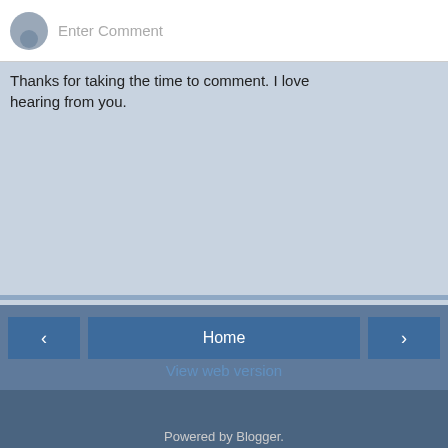[Figure (screenshot): Comment input box with gray avatar circle on left and 'Enter Comment' placeholder text]
Thanks for taking the time to comment. I love hearing from you.
[Figure (photo): Background photo collage with multiple rotated photographs of people running and sightseeing]
Home
View web version
ABOUT ME
Char
An insight into the life of a work-from-home Mum who's obsessed with running, making leotards and cupcakes and, of course, looking after a menagerie of 1 husband, 3 sons, 2 dogs, 2 hens and a cockatiel.
View my complete profile
Powered by Blogger.